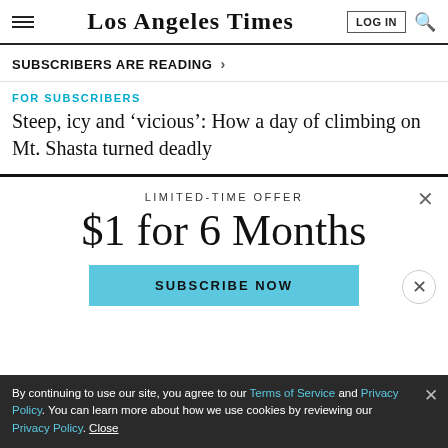Los Angeles Times
SUBSCRIBERS ARE READING >
FOR SUBSCRIBERS
Steep, icy and 'vicious': How a day of climbing on Mt. Shasta turned deadly
LIMITED-TIME OFFER
$1 for 6 Months
SUBSCRIBE NOW
By continuing to use our site, you agree to our Terms of Service and Privacy Policy. You can learn more about how we use cookies by reviewing our Privacy Policy. Close